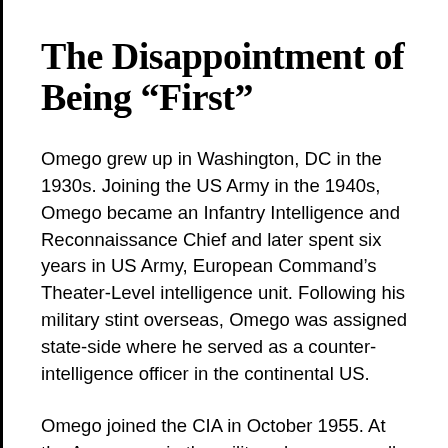The Disappointment of Being “First”
Omego grew up in Washington, DC in the 1930s. Joining the US Army in the 1940s, Omego became an Infantry Intelligence and Reconnaissance Chief and later spent six years in US Army, European Command’s Theater-Level intelligence unit. Following his military stint overseas, Omego was assigned state-side where he served as a counter-intelligence officer in the continental US.
Omego joined the CIA in October 1955. At the Agency, as in the military, he was usually the